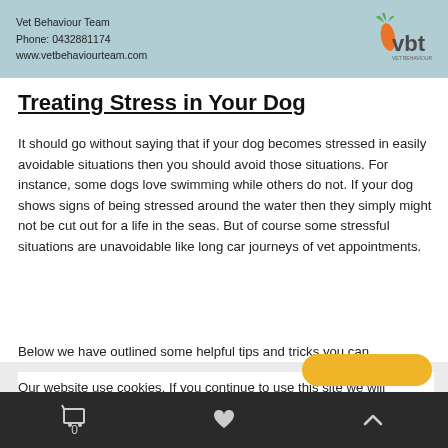Vet Behaviour Team
Phone: 0432881174
www.vetbehaviourteam.com
Treating Stress in Your Dog
It should go without saying that if your dog becomes stressed in easily avoidable situations then you should avoid those situations. For instance, some dogs love swimming while others do not. If your dog shows signs of being stressed around the water then they simply might not be cut out for a life in the seas. But of course some stressful situations are unavoidable like long car journeys of vet appointments.
Below we have outlined some helpful tips and tricks you can
Our website use cookies. If you continue to use this site we will assume that you are happy with this.
0  ♥  ∧